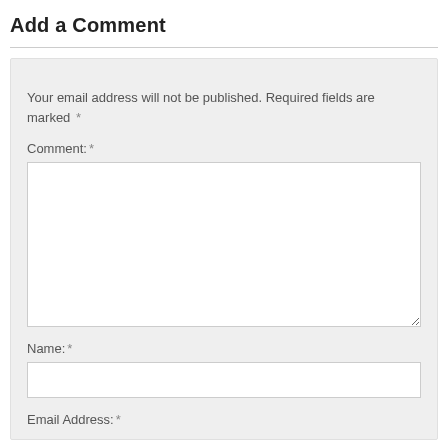Add a Comment
Your email address will not be published. Required fields are marked *
Comment: *
Name: *
Email Address: *